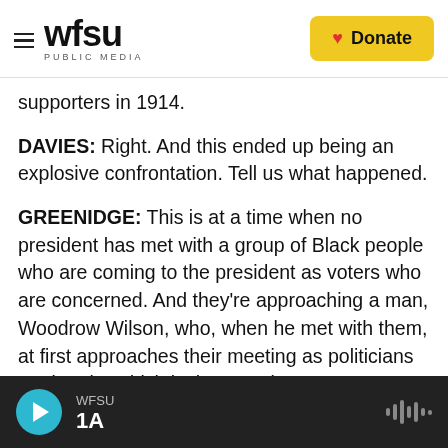wfsu PUBLIC MEDIA | Donate
supporters in 1914.
DAVIES: Right. And this ended up being an explosive confrontation. Tell us what happened.
GREENIDGE: This is at a time when no president has met with a group of Black people who are coming to the president as voters who are concerned. And they're approaching a man, Woodrow Wilson, who, when he met with them, at first approaches their meeting as politicians tend to do, which is that, you know, I'm so sorry. I think we've misunderstood each other. I appreciate your
WFSU 1A